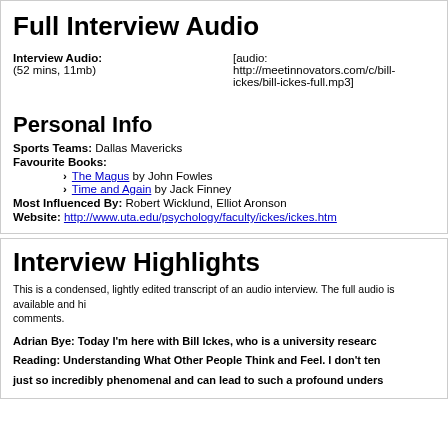Full Interview Audio
Interview Audio:  (52 mins, 11mb)   [audio: http://meetinnovators.com/c/bill-ickes/bill-ickes-full.mp3]
Personal Info
Sports Teams:  Dallas Mavericks
Favourite Books:
The Magus by John Fowles
Time and Again by Jack Finney
Most Influenced By:  Robert Wicklund, Elliot Aronson
Website:  http://www.uta.edu/psychology/faculty/ickes/ickes.htm
Interview Highlights
This is a condensed, lightly edited transcript of an audio interview. The full audio is available and hi comments.
Adrian Bye: Today I'm here with Bill Ickes, who is a university resear Reading: Understanding What Other People Think and Feel. I don't ten just so incredibly phenomenal and can lead to such a profound unders